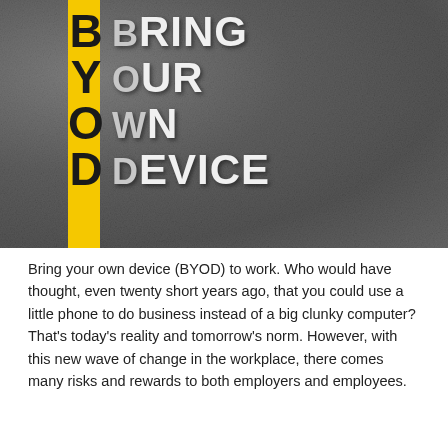[Figure (photo): Photo of asphalt/road surface with a yellow painted stripe on the left side. The letters B, Y, O, D are painted in black on the yellow stripe vertically. To the right of each letter is the corresponding word in white stencil text: BRING, OUR, WN, EVICE — spelling out BRING YOUR OWN DEVICE.]
Bring your own device (BYOD) to work. Who would have thought, even twenty short years ago, that you could use a little phone to do business instead of a big clunky computer? That's today's reality and tomorrow's norm. However, with this new wave of change in the workplace, there comes many risks and rewards to both employers and employees.